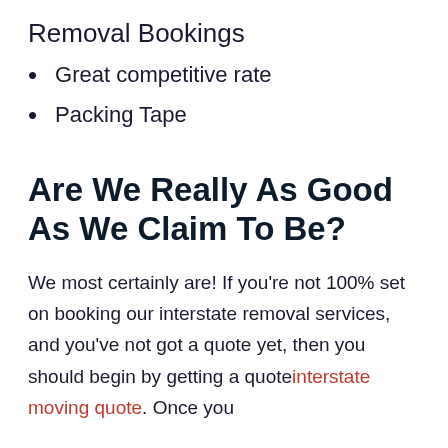Removal Bookings
Great competitive rate
Packing Tape
Are We Really As Good As We Claim To Be?
We most certainly are! If you're not 100% set on booking our interstate removal services, and you've not got a quote yet, then you should begin by getting a quote interstate moving quote. Once you